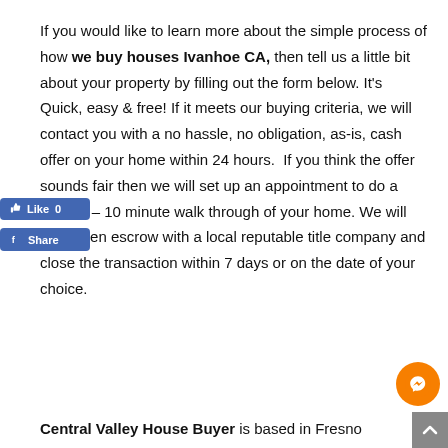If you would like to learn more about the simple process of how we buy houses Ivanhoe CA, then tell us a little bit about your property by filling out the form below. It's Quick, easy & free! If it meets our buying criteria, we will contact you with a no hassle, no obligation, as-is, cash offer on your home within 24 hours. If you think the offer sounds fair then we will set up an appointment to do a quick 5 – 10 minute walk through of your home. We will then open escrow with a local reputable title company and close the transaction within 7 days or on the date of your choice.
Central Valley House Buyer is based in Fresno